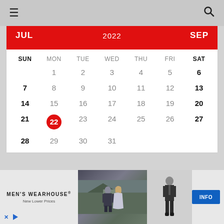Navigation menu and search icons
| SUN | MON | TUE | WED | THU | FRI | SAT |
| --- | --- | --- | --- | --- | --- | --- |
|  | 1 | 2 | 3 | 4 | 5 | 6 |
| 7 | 8 | 9 | 10 | 11 | 12 | 13 |
| 14 | 15 | 16 | 17 | 18 | 19 | 20 |
| 21 | 22 | 23 | 24 | 25 | 26 | 27 |
| 28 | 29 | 30 | 31 |  |  |  |
JUL 2022 SEP
[Figure (other): Men's Wearhouse advertisement banner with couple in formal wear and man in tuxedo, INFO button]